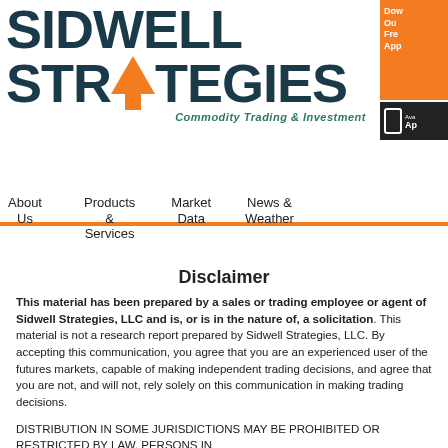[Figure (logo): Sidwell Strategies logo with orange arrow/lightning bolt graphic and teal text 'Commodity Trading & Investment']
[Figure (other): Orange button top right: 'Download Our Free App']
[Figure (other): Black App Store badge with phone icon and 'Available on App Store']
About Us   Products & Services   Market Data   News & Weather
Disclaimer
This material has been prepared by a sales or trading employee or agent of Sidwell Strategies, LLC and is, or is in the nature of, a solicitation. This material is not a research report prepared by Sidwell Strategies, LLC. By accepting this communication, you agree that you are an experienced user of the futures markets, capable of making independent trading decisions, and agree that you are not, and will not, rely solely on this communication in making trading decisions.
DISTRIBUTION IN SOME JURISDICTIONS MAY BE PROHIBITED OR RESTRICTED BY LAW. PERSONS IN